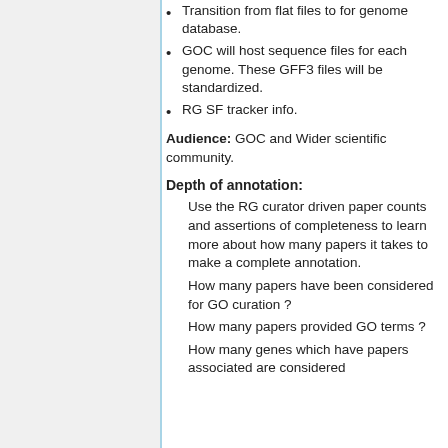Transition from flat files to for genome database.
GOC will host sequence files for each genome. These GFF3 files will be standardized.
RG SF tracker info.
Audience: GOC and Wider scientific community.
Depth of annotation:
Use the RG curator driven paper counts and assertions of completeness to learn more about how many papers it takes to make a complete annotation.
How many papers have been considered for GO curation ?
How many papers provided GO terms ?
How many genes which have papers associated are considered